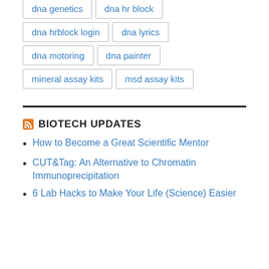dna genetics
dna hr block
dna hrblock login
dna lyrics
dna motoring
dna painter
mineral assay kits
msd assay kits
BIOTECH UPDATES
How to Become a Great Scientific Mentor
CUT&Tag: An Alternative to Chromatin Immunoprecipitation
6 Lab Hacks to Make Your Life (Science) Easier